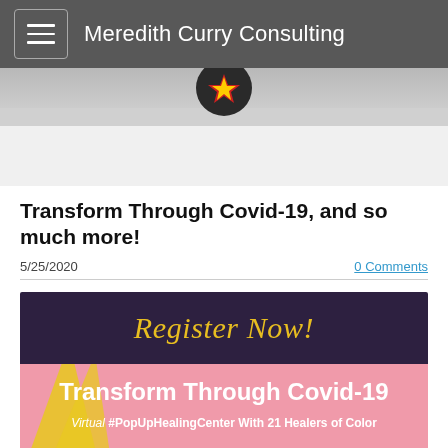Meredith Curry Consulting
[Figure (photo): Partial hero image with circular logo/emblem visible at the top center, showing a star on dark background against a light surface]
Transform Through Covid-19, and so much more!
5/25/2020
0 Comments
[Figure (infographic): Register Now! banner with dark purple top section with gold script text 'Register Now!' and pink bottom section with bold white text 'Transform Through Covid-19' and italic subtitle 'Virtual #PopUpHealingCenter With 21 Healers of Color']